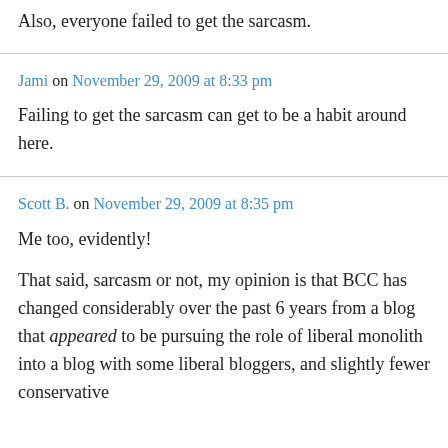Also, everyone failed to get the sarcasm.
Jami on November 29, 2009 at 8:33 pm
Failing to get the sarcasm can get to be a habit around here.
Scott B. on November 29, 2009 at 8:35 pm
Me too, evidently!
That said, sarcasm or not, my opinion is that BCC has changed considerably over the past 6 years from a blog that appeared to be pursuing the role of liberal monolith into a blog with some liberal bloggers, and slightly fewer conservative